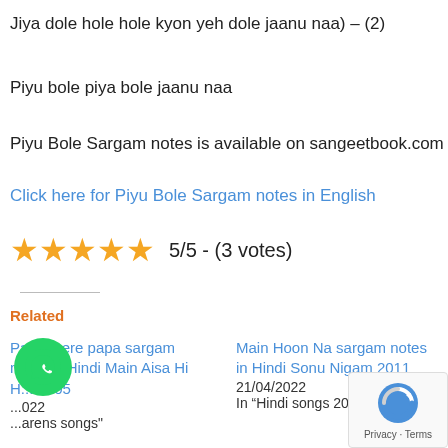Jiya dole hole hole kyon yeh dole jaanu naa) – (2)
Piyu bole piya bole jaanu naa
Piyu Bole Sargam notes is available on sangeetbook.com
Click here for Piyu Bole Sargam notes in English
[Figure (other): 5 gold stars rating with text '5/5 - (3 votes)']
Related
Papa mere papa sargam notes in Hindi Main Aisa Hi H... 2005
Main Hoon Na sargam notes in Hindi Sonu Nigam 2011
21/04/2022
In “Hindi songs 2011 - 20
[Figure (logo): WhatsApp circular green button with phone icon]
[Figure (logo): reCAPTCHA badge with Privacy and Terms text]